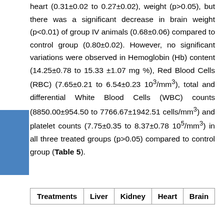heart (0.31±0.02 to 0.27±0.02), weight (p>0.05), but there was a significant decrease in brain weight (p<0.01) of group IV animals (0.68±0.06) compared to control group (0.80±0.02). However, no significant variations were observed in Hemoglobin (Hb) content (14.25±0.78 to 15.33 ±1.07 mg %), Red Blood Cells (RBC) (7.65±0.21 to 6.54±0.23 10³/mm³), total and differential White Blood Cells (WBC) counts (8850.00±954.50 to 7766.67±1942.51 cells/mm³) and platelet counts (7.75±0.35 to 8.37±0.78 10⁵/mm³) in all three treated groups (p>0.05) compared to control group (Table 5).
| Treatments | Liver | Kidney | Heart | Brain |
| --- | --- | --- | --- | --- |